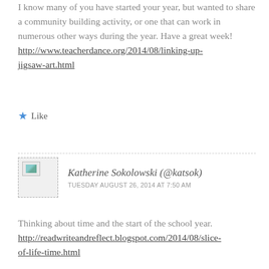I know many of you have started your year, but wanted to share a community building activity, or one that can work in numerous other ways during the year. Have a great week! http://www.teacherdance.org/2014/08/linking-up-jigsaw-art.html
Like
Katherine Sokolowski (@katsok)
TUESDAY AUGUST 26, 2014 AT 7:50 AM
Thinking about time and the start of the school year. http://readwriteandreflect.blogspot.com/2014/08/slice-of-life-time.html